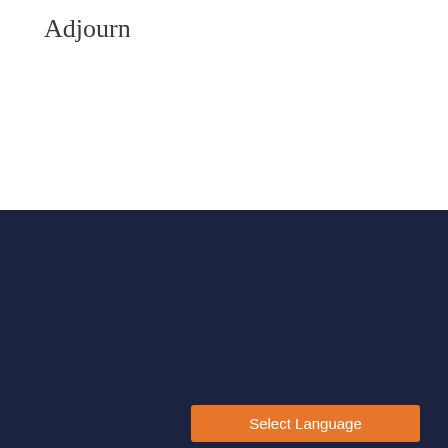Adjourn
[Figure (logo): Lower Platte South Natural Resources District circular logo with trees, sun and water waves, white on dark navy background, with text LOWER PLATTE SOUTH natural resources district]
Lower Platte South NRD
PO Box 83581
3125 Portia Street
Lincoln, NE 68521
View Map
Select Language